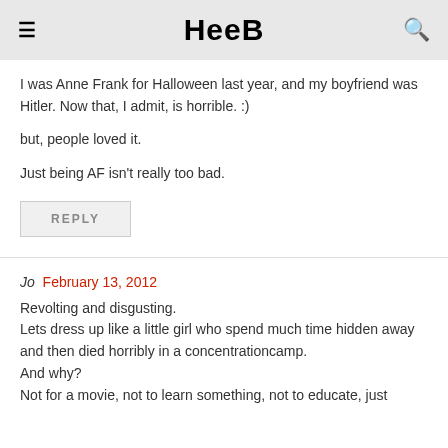HEEB
I was Anne Frank for Halloween last year, and my boyfriend was Hitler. Now that, I admit, is horrible. :)

but, people loved it.

Just being AF isn't really too bad.
REPLY
Jo  February 13, 2012
Revolting and disgusting.
Lets dress up like a little girl who spend much time hidden away and then died horribly in a concentrationcamp.
And why?
Not for a movie, not to learn something, not to educate, just